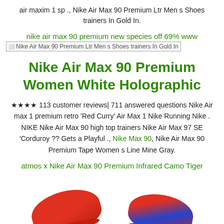air maxim 1 sp ., Nike Air Max 90 Premium Ltr Men s Shoes trainers In Gold In.
nike air max 90 premium new species off 69% www
[Figure (photo): Broken image placeholder: Nike Air Max 90 Premium Ltr Men s Shoes trainers In Gold In]
Nike Air Max 90 Premium Women White Holographic
★★★★ 113 customer reviews| 711 answered questions Nike Air max 1 premium retro 'Red Curry' Air Max 1 Nike Running Nike . NIKE Nike Air Max 90 high top trainers Nike Air Max 97 SE 'Corduroy ?? Gets a Playful ., Nike Max 90, Nike Air Max 90 Premium Tape Women s Line Mine Gray.
atmos x Nike Air Max 90 Premium Infrared Camo Tiger
[Figure (photo): Two red Nike Air Max shoes shown from above at the bottom of the page]